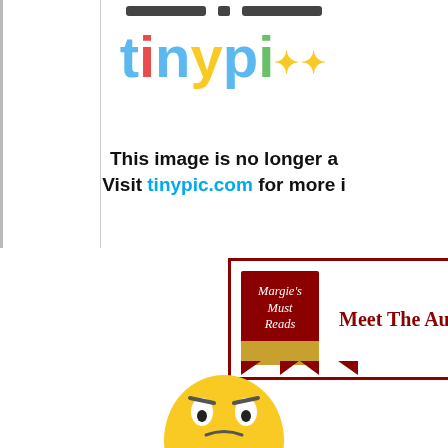[Figure (screenshot): Tinypic broken image placeholder showing the tinypic.com logo and message 'This image is no longer available. Visit tinypic.com for more information.']
[Figure (logo): Margie's Must Reads logo badge in dark red with ribbon, alongside text 'Meet The Auth...' in dark red serif font, inside a dark red border box.]
[Figure (illustration): Yellow cartoon sad/worried face character (emoji-style), partially visible at the bottom of the page.]